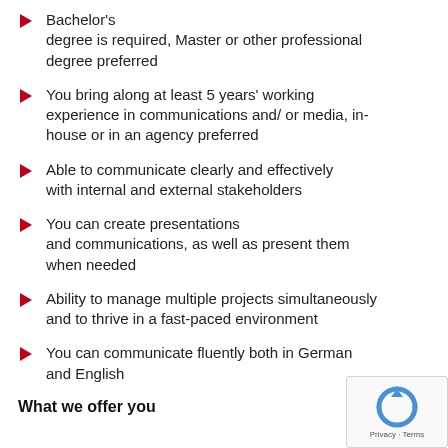Bachelor's degree is required, Master or other professional degree preferred
You bring along at least 5 years' working experience in communications and/ or media, in-house or in an agency preferred
Able to communicate clearly and effectively with internal and external stakeholders
You can create presentations and communications, as well as present them when needed
Ability to manage multiple projects simultaneously and to thrive in a fast-paced environment
You can communicate fluently both in German and English
What we offer you